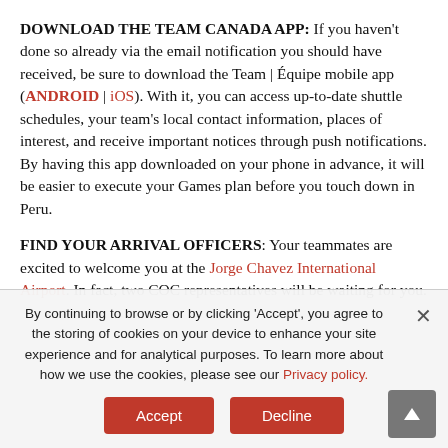DOWNLOAD THE TEAM CANADA APP: If you haven't done so already via the email notification you should have received, be sure to download the Team | Équipe mobile app (ANDROID | iOS). With it, you can access up-to-date shuttle schedules, your team's local contact information, places of interest, and receive important notices through push notifications. By having this app downloaded on your phone in advance, it will be easier to execute your Games plan before you touch down in Peru.
FIND YOUR ARRIVAL OFFICERS: Your teammates are excited to welcome you at the Jorge Chavez International Airport. In fact, two COC representatives will be waiting for you.
By continuing to browse or by clicking 'Accept', you agree to the storing of cookies on your device to enhance your site experience and for analytical purposes. To learn more about how we use the cookies, please see our Privacy policy.